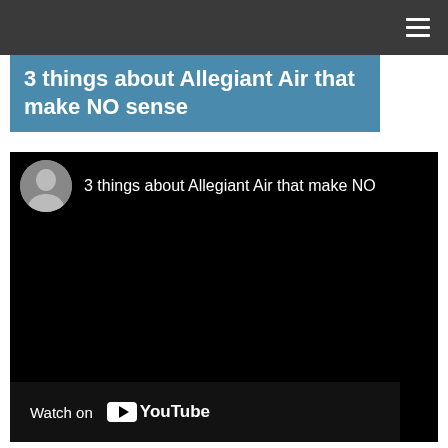Navigation bar with hamburger menu icon
3 things about Allegiant Air that make NO sense
[Figure (screenshot): YouTube video embed showing '3 things about Allegiant Air that make NO sense' with a circular avatar thumbnail of a person, black video area, and a 'Watch on YouTube' bar at the bottom]